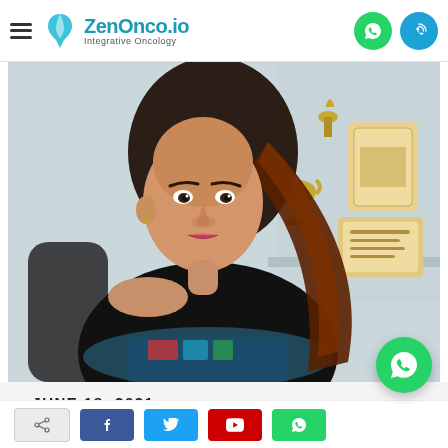ZenOnco.io — Integrative Oncology
[Figure (photo): Portrait photo of a woman seated at a desk, wearing a black top with a colorful pattern, with trophies and awards visible in the background on a shelf.]
– JUNE 18, 2021